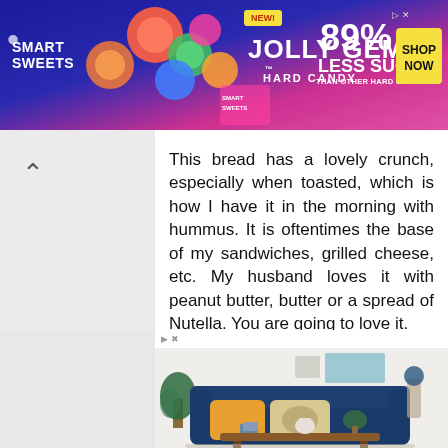[Figure (photo): Smart Sweets Jolly Gems Hard Candy advertisement banner. Dark blue and pink gradient background with colorful candy graphics. Text reads NEW! JOLLY GEMS HARD CANDY SMART SWEETS. Right side shows 89% LESS SUGAR THAN OTHER HARD CANDIES with yellow SHOP NOW button.]
This bread has a lovely crunch, especially when toasted, which is how I have it in the morning with hummus. It is oftentimes the base of my sandwiches, grilled cheese, etc. My husband loves it with peanut butter, butter or a spread of Nutella. You are going to love it.
Bulgur's flavour is wheaty, its texture crunchy-tender.
[Figure (photo): Interior furniture advertisement showing a living room with a navy blue sofa with yellow and patterned throw pillows, a wooden coffee table, and decorative items including plants and vases against a white wall.]